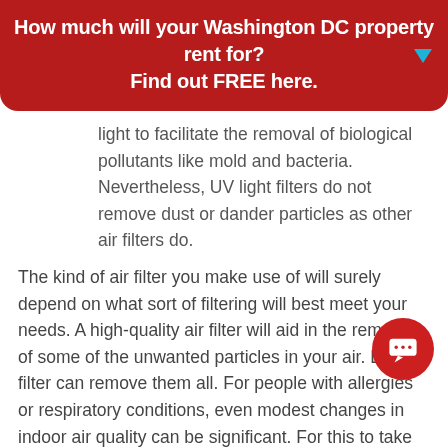How much will your Washington DC property rent for? Find out FREE here.
light to facilitate the removal of biological pollutants like mold and bacteria. Nevertheless, UV light filters do not remove dust or dander particles as other air filters do.
The kind of air filter you make use of will surely depend on what sort of filtering will best meet your needs. A high-quality air filter will aid in the removal of some of the unwanted particles in your air. But no filter can remove them all. For people with allergies or respiratory conditions, even modest changes in indoor air quality can be significant. For this to take effect, though, first make sure that the right air filters for each room are in place.
Generally, people can simply install the preferred filter in their existing HVAC system. Others, though, may choose to